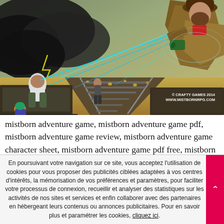[Figure (illustration): Fantasy action illustration showing a figure in a brown coat and hat wielding a device shooting blue energy rays, standing over a moving train. Other figures fight on top of the train cars in a desert landscape with storm clouds. Copyright text reads '© CRAFTY GAMES 2014 WWW.MISTBORNRPG.COM']
mistborn adventure game, mistborn adventure game pdf, mistborn adventure game review, mistborn adventure game character sheet, mistborn adventure game pdf free, mistborn
En poursuivant votre navigation sur ce site, vous acceptez l'utilisation de cookies pour vous proposer des publicités ciblées adaptées à vos centres d'intérêts, la mémorisation de vos préférences et paramètres, pour faciliter votre processus de connexion, recueillir et analyser des statistiques sur les activités de nos sites et services et enfin collaborer avec des partenaires en hébergeant leurs contenus ou annonces publicitaires. Pour en savoir plus et paramétrer les cookies, cliquez ici.